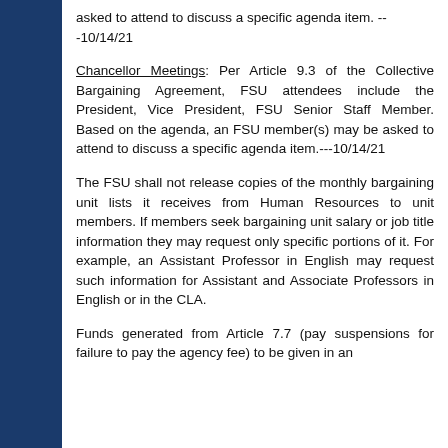asked to attend to discuss a specific agenda item. ---10/14/21
Chancellor Meetings: Per Article 9.3 of the Collective Bargaining Agreement, FSU attendees include the President, Vice President, FSU Senior Staff Member. Based on the agenda, an FSU member(s) may be asked to attend to discuss a specific agenda item.---10/14/21
The FSU shall not release copies of the monthly bargaining unit lists it receives from Human Resources to unit members. If members seek bargaining unit salary or job title information they may request only specific portions of it. For example, an Assistant Professor in English may request such information for Assistant and Associate Professors in English or in the CLA.
Funds generated from Article 7.7 (pay suspensions for failure to pay the agency fee) to be given in an